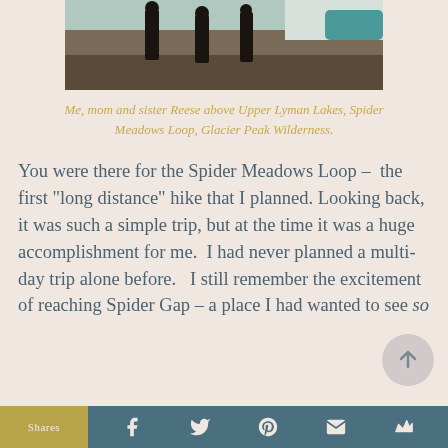[Figure (photo): Partial photo showing three people hiking on rocky terrain with snow and a teal mountain lake in the background, upper portion of the image visible]
Me, mom and sister Reese above Upper Lyman Lakes, Spider Meadows Loop, Glacier Peak Wilderness.
You were there for the Spider Meadows Loop – the first “long distance” hike that I planned. Looking back, it was such a simple trip, but at the time it was a huge accomplishment for me. I had never planned a multi-day trip alone before. I still remember the excitement of reaching Spider Gap – a place I had wanted to see so
Shares  [social share icons: Facebook, Twitter, Pinterest, Email, Crown]